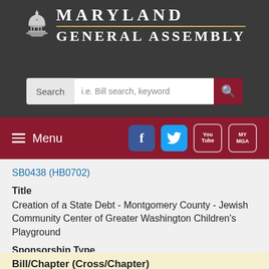[Figure (logo): Maryland General Assembly logo with capitol building icon and text]
Legislative Services | Legislative Audits
[Figure (screenshot): Search bar with label 'Search' and placeholder 'i.e. Bill search, keyword' and red search button]
[Figure (screenshot): Navigation bar with Menu button and social media icons: Facebook, Twitter, YouTube, MyMGA]
SB0438 (HB0702)
Title
Creation of a State Debt - Montgomery County - Jewish Community Center of Greater Washington Children's Playground
Sponsorship Type
Primary
Bill/Chapter (Cross/Chapter)